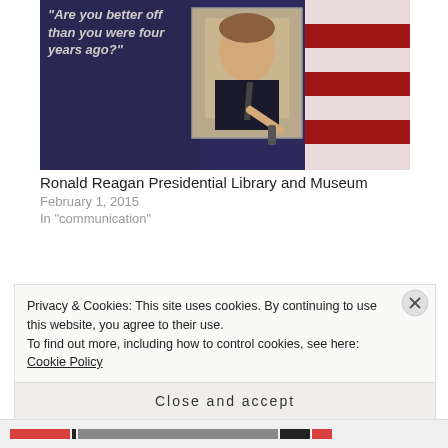[Figure (photo): Ronald Reagan presentation image with quote 'Are you better off than you were four years ago?' and American flag background]
Ronald Reagan Presidential Library and Museum
February 1, 2015
In "communication"
The Tax Pledge
A government entity does not necessarily create jobs.
Privacy & Cookies: This site uses cookies. By continuing to use this website, you agree to their use.
To find out more, including how to control cookies, see here: Cookie Policy
Close and accept